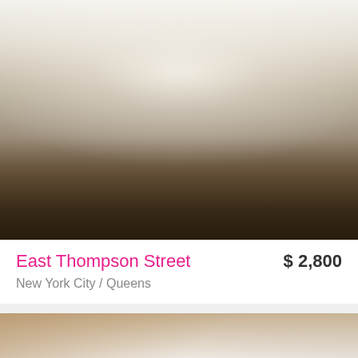[Figure (photo): Interior photo of a bright, open-plan living room with white furniture, a dark wood coffee table with candle holders, pendant lights, and an open kitchen in the background.]
East Thompson Street
$ 2,800
New York City / Queens
[Figure (photo): Interior photo of a room with cathedral/vaulted ceiling with exposed wooden beams, large windows showing green trees outside, and white walls.]